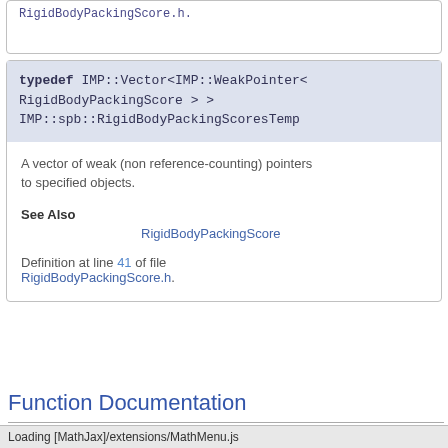RigidBodyPackingScore.h.
typedef IMP::Vector<IMP::WeakPointer< RigidBodyPackingScore > > IMP::spb::RigidBodyPackingScoresTemp
A vector of weak (non reference-counting) pointers to specified objects.
See Also
    RigidBodyPackingScore
Definition at line 41 of file RigidBodyPackingScore.h.
Function Documentation
std::string IMP::spb::get_data_path ( std::string  file_
Loading [MathJax]/extensions/MathMenu.js